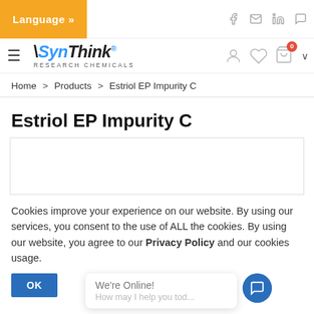Language »
[Figure (logo): SynThink Research Chemicals logo with hamburger menu]
Home > Products > Estriol EP Impurity C
Estriol EP Impurity C
[Figure (photo): Product image placeholder box]
Cookies improve your experience on our website. By using our services, you consent to the use of ALL the cookies. By using our website, you agree to our Privacy Policy and our cookies usage.
OK
We're Online! How may I help you tod...